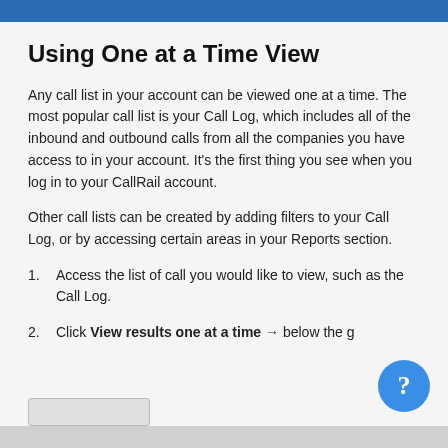Using One at a Time View
Any call list in your account can be viewed one at a time. The most popular call list is your Call Log, which includes all of the inbound and outbound calls from all the companies you have access to in your account. It's the first thing you see when you log in to your CallRail account.
Other call lists can be created by adding filters to your Call Log, or by accessing certain areas in your Reports section.
1. Access the list of call you would like to view, such as the Call Log.
2. Click View results one at a time → below the g